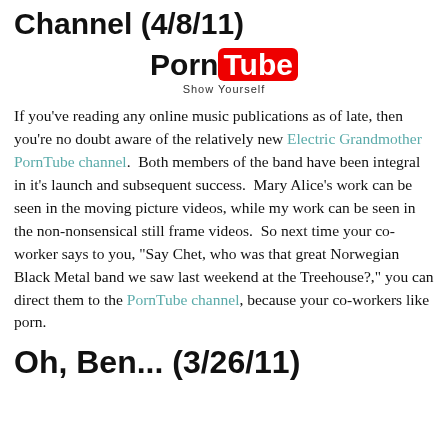Channel (4/8/11)
[Figure (logo): PornTube logo with red rounded rectangle around 'Tube' and tagline 'Show Yourself']
If you've reading any online music publications as of late, then you're no doubt aware of the relatively new Electric Grandmother PornTube channel.  Both members of the band have been integral in it's launch and subsequent success.  Mary Alice's work can be seen in the moving picture videos, while my work can be seen in the non-nonsensical still frame videos.  So next time your co-worker says to you, "Say Chet, who was that great Norwegian Black Metal band we saw last weekend at the Treehouse?," you can direct them to the PornTube channel, because your co-workers like porn.
Oh, Ben... (3/26/11)